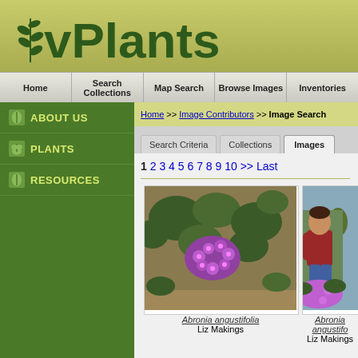vPlants
Home | Search Collections | Map Search | Browse Images | Inventories
ABOUT US | PLANTS | RESOURCES
Home >> Image Contributors >> Image Search
Search Criteria   Collections   Images
1 2 3 4 5 6 7 8 9 10 >> Last
[Figure (photo): Close-up photo of Abronia angustifolia plant with pink/purple flowers and dark green leaves]
Abronia angustifolia
Liz Makings
[Figure (photo): Photo of a man standing near Abronia angustifolia plant with pink/purple flowers]
Abronia angustifolia
Liz Makings